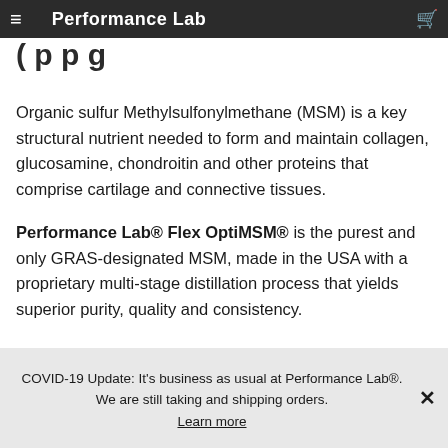Performance Lab
( p p g
Organic sulfur Methylsulfonylmethane (MSM) is a key structural nutrient needed to form and maintain collagen, glucosamine, chondroitin and other proteins that comprise cartilage and connective tissues.
Performance Lab® Flex OptiMSM® is the purest and only GRAS-designated MSM, made in the USA with a proprietary multi-stage distillation process that yields superior purity, quality and consistency.
0
COVID-19 Update: It's business as usual at Performance Lab®. We are still taking and shipping orders. Learn more